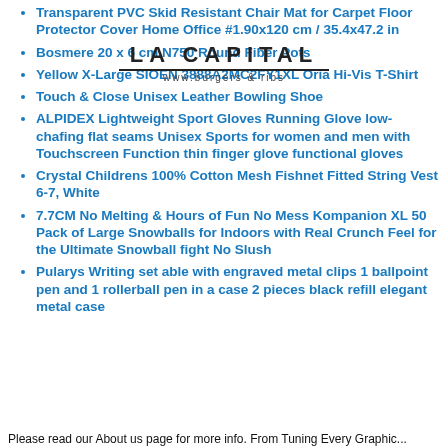Transparent PVC Skid Resistant Chair Mat for Carpet Floor Protector Cover Home Office #1.90x120 cm / 35.4x47.2 in
Bosmere 20 x 6 cm N750 Round Fiber Pots
Yellow X-Large SIOEN 3888A2MC2FY1XL Oria Hi-Vis T-Shirt
Touch & Close Unisex Leather Bowling Shoe
ALPIDEX Lightweight Sport Gloves Running Glove low-chafing flat seams Unisex Sports for women and men with Touchscreen Function thin finger glove functional gloves
Crystal Childrens 100% Cotton Mesh Fishnet Fitted String Vest 6-7, White
7.7CM No Melting & Hours of Fun No Mess Kompanion XL 50 Pack of Large Snowballs for Indoors with Real Crunch Feel for the Ultimate Snowball fight No Slush
Pularys Writing set able with engraved metal clips 1 ballpoint pen and 1 rollerball pen in a case 2 pieces black refill elegant metal case
Please read our About us page for more info. From Tuning Every Graphic...